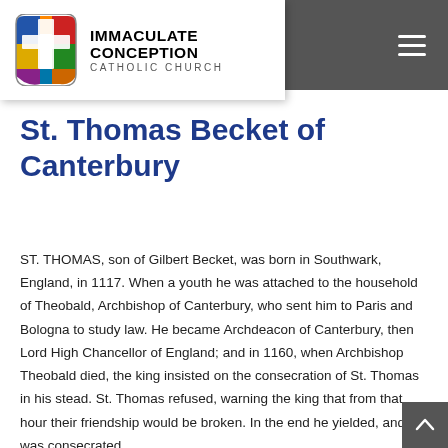Immaculate Conception Catholic Church
St. Thomas Becket of Canterbury
ST. THOMAS, son of Gilbert Becket, was born in Southwark, England, in 1117. When a youth he was attached to the household of Theobald, Archbishop of Canterbury, who sent him to Paris and Bologna to study law. He became Archdeacon of Canterbury, then Lord High Chancellor of England; and in 1160, when Archbishop Theobald died, the king insisted on the consecration of St. Thomas in his stead. St. Thomas refused, warning the king that from that hour their friendship would be broken. In the end he yielded, and was consecrated.